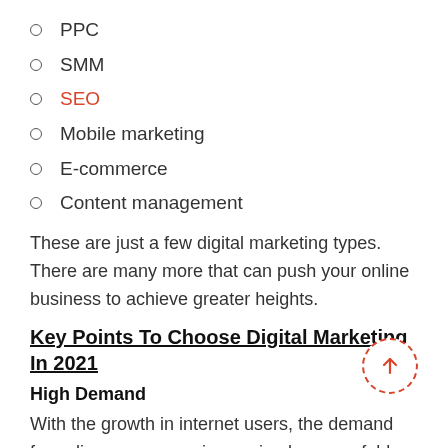PPC
SMM
SEO
Mobile marketing
E-commerce
Content management
These are just a few digital marketing types. There are many more that can push your online business to achieve greater heights.
Key Points To Choose Digital Marketing In 2021
High Demand
With the growth in internet users, the demand for online consumers is growing by many folds. To meet up the needs,